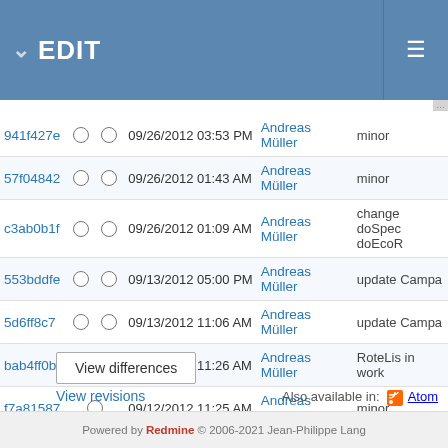EDIT
| Hash |  | Date/Time | Author | Comment |
| --- | --- | --- | --- | --- |
| 941f427e |  | 09/26/2012 03:53 PM | Andreas Müller | minor |
| 57f04842 |  | 09/26/2012 01:43 AM | Andreas Müller | minor |
| c3ab0b1f |  | 09/26/2012 01:09 AM | Andreas Müller | change doSpec doEcoR |
| 553bddfe |  | 09/13/2012 05:00 PM | Andreas Müller | update Campa |
| 5d6ff8c7 |  | 09/13/2012 11:06 AM | Andreas Müller | update Campa |
| bab4ff0b |  | 09/12/2012 11:26 AM | Andreas Müller | RoteLis in work |
| f7a81587 |  | 09/12/2012 11:25 AM | Andreas Müller | minor |
View differences
View revisions
Also available in: Atom
Powered by Redmine © 2006-2021 Jean-Philippe Lang